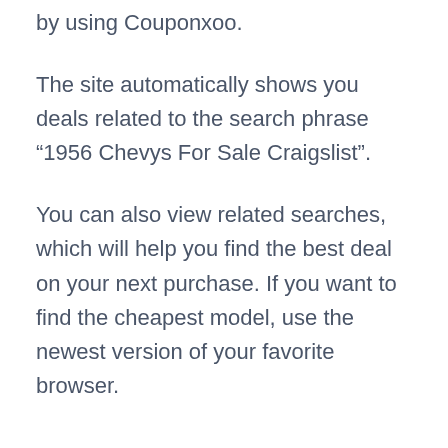by using Couponxoo.
The site automatically shows you deals related to the search phrase “1956 Chevys For Sale Craigslist”.
You can also view related searches, which will help you find the best deal on your next purchase. If you want to find the cheapest model, use the newest version of your favorite browser.